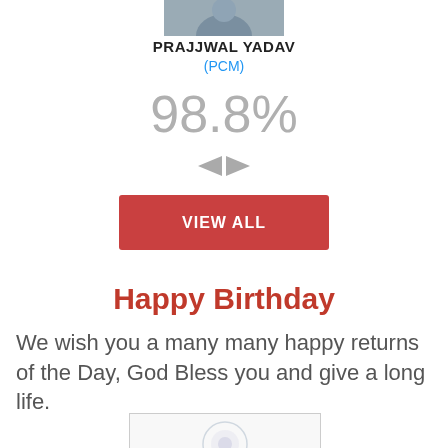[Figure (photo): Partial profile photo of Prajjwal Yadav, cropped at top of page]
PRAJJWAL YADAV
(PCM)
98.8%
[Figure (other): Left and right navigation arrow icons]
VIEW ALL
Happy Birthday
We wish you a many many happy returns of the Day, God Bless you and give a long life.
[Figure (other): Partial bottom image, appears to be a certificate or badge with a circular emblem]